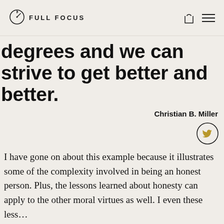FULL FOCUS
degrees and we can strive to get better and better.
Christian B. Miller
I have gone on about this example because it illustrates some of the complexity involved in being an honest person. Plus, the lessons learned about honesty can apply to the other moral virtues as well. I even these lessons…